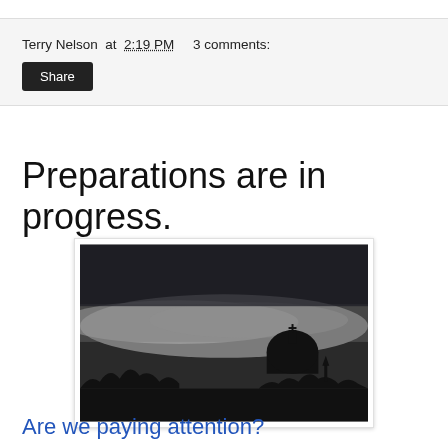Terry Nelson at 2:19 PM   3 comments:
Share
Preparations are in progress.
[Figure (photo): Silhouette of a cathedral dome (likely St. Peter's Basilica in Rome) against a dramatic dark stormy sky with a lighter band of clouds on the horizon. Trees are silhouetted along the bottom edge.]
Are we paying attention?